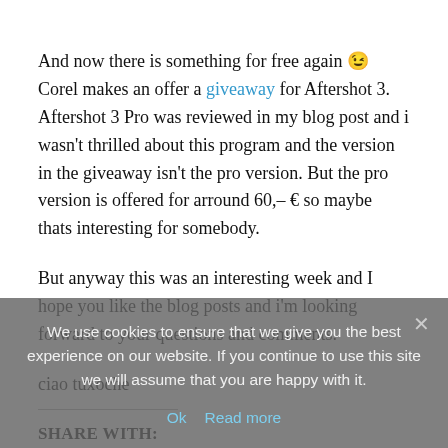And now there is something for free again 😉 Corel makes an offer a giveaway for Aftershot 3. Aftershot 3 Pro was reviewed in my blog post and i wasn't thrilled about this program and the version in the giveaway isn't the pro version. But the pro version is offered for arround 60,– € so maybe thats interesting for somebody.
But anyway this was an interesting week and I hope you like the blog posts and i'm looking forward to your questions and comments.
ciao tuxoche
SHARE WITH:
We use cookies to ensure that we give you the best experience on our website. If you continue to use this site we will assume that you are happy with it.